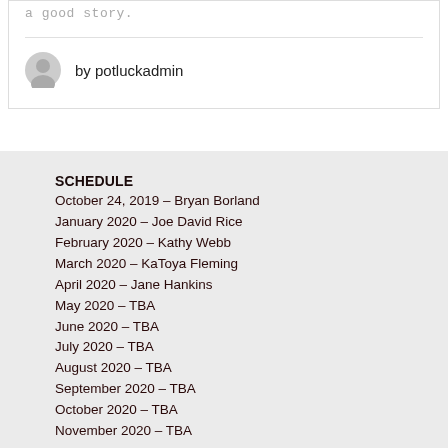a good story.
by potluckadmin
SCHEDULE
October 24, 2019 – Bryan Borland
January 2020 – Joe David Rice
February 2020 – Kathy Webb
March 2020 – KaToya Fleming
April 2020 – Jane Hankins
May 2020 – TBA
June 2020 – TBA
July 2020 – TBA
August 2020 – TBA
September 2020 – TBA
October 2020 – TBA
November 2020 – TBA